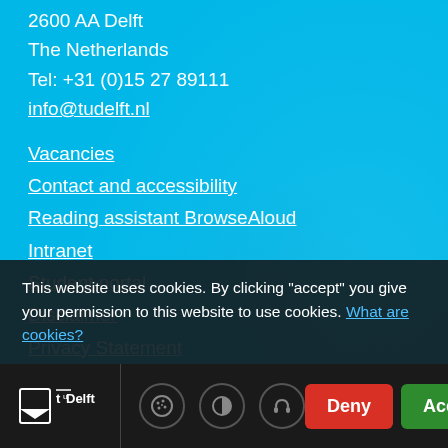2600 AA Delft
The Netherlands
Tel: +31 (0)15 27 89111
info@tudelft.nl
Vacancies
Contact and accessibility
Reading assistant BrowseAloud
Intranet
Student portal
Disclaimer
Privacy Statement
This website uses cookies. By clicking "accept" you give your permission to this website to use cookies. What are cookies?
[Figure (logo): TU Delft logo with cookie, contrast, and headset icons, plus Deny and Accept buttons]
Deny  Accept